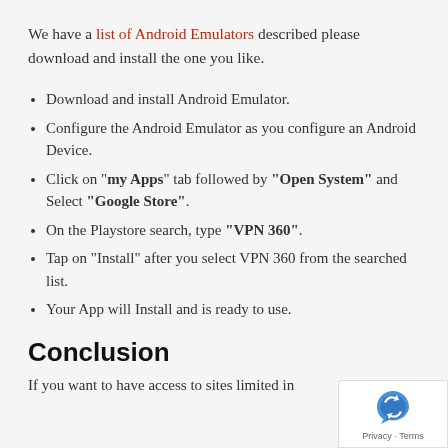We have a list of Android Emulators described please download and install the one you like.
Download and install Android Emulator.
Configure the Android Emulator as you configure an Android Device.
Click on "my Apps" tab followed by "Open System" and Select "Google Store".
On the Playstore search, type "VPN 360".
Tap on "Install" after you select VPN 360 from the searched list.
Your App will Install and is ready to use.
Conclusion
If you want to have access to sites limited in